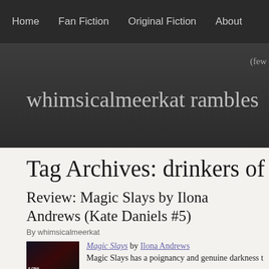Home | Fan Fiction | Original Fiction | About
whimsicalmeerkat rambles
Tag Archives: drinkers of bl
Review: Magic Slays by Ilona Andrews (Kate Daniels #5)
By whimsicalmeerkat
Magic Slays by Ilona Andrews
Magic Slays has a poignancy and genuine darkness t